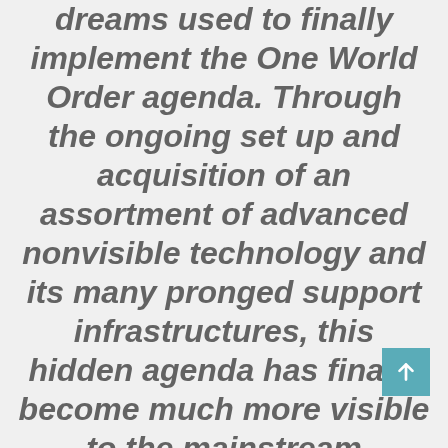dreams used to finally implement the One World Order agenda. Through the ongoing set up and acquisition of an assortment of advanced nonvisible technology and its many pronged support infrastructures, this hidden agenda has finally become much more visible to the mainstream population this year. The end goal for the Controllers is to use advanced nonvisible technology such as artificial intelligence